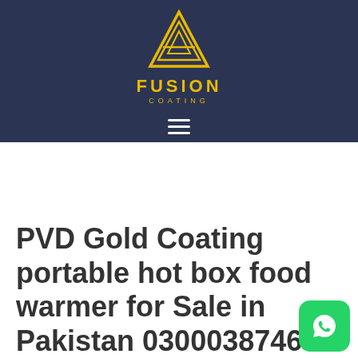[Figure (logo): Fusion Coating logo: yellow geometric triangle/diamond shape with FUSION text and COATING subtext on dark navy background, with hamburger menu icon below]
PVD Gold Coating portable hot box food warmer for Sale in Pakistan 03000387466